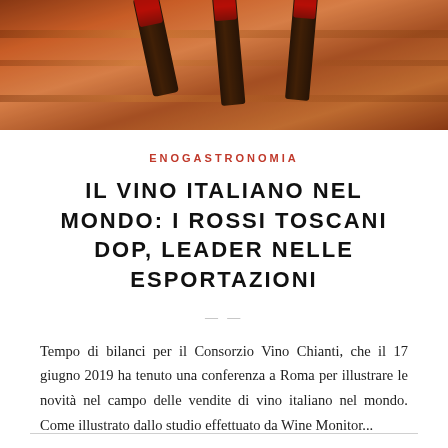[Figure (photo): Photo of wine bottles with dark bottle necks and red caps, warm amber/brown tones suggesting a cellar or wooden background]
ENOGASTRONOMIA
IL VINO ITALIANO NEL MONDO: I ROSSI TOSCANI DOP, LEADER NELLE ESPORTAZIONI
Tempo di bilanci per il Consorzio Vino Chianti, che il 17 giugno 2019 ha tenuto una conferenza a Roma per illustrare le novità nel campo delle vendite di vino italiano nel mondo. Come illustrato dallo studio effettuato da Wine Monitor...